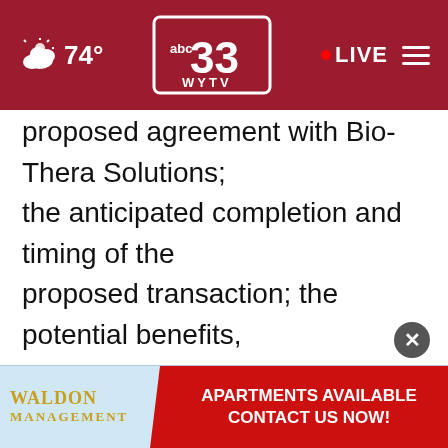74° | ABC 33 WYTV | LIVE
proposed agreement with Bio-Thera Solutions; the anticipated completion and timing of the proposed transaction; the potential benefits, safety and efficacy of BAT1806; risks and uncertainties associated with drug development and commercialization; the potential of Biogen's commercial business and pipeline programs; Biogen's strategy and plans; and potential cost healthcare savings related to biosimilar treatments may be,
[Figure (screenshot): Waldon Management apartment advertisement banner overlay at bottom of screen with red ribbon 'APARTMENTS AVAILABLE CONTACT US NOW!']